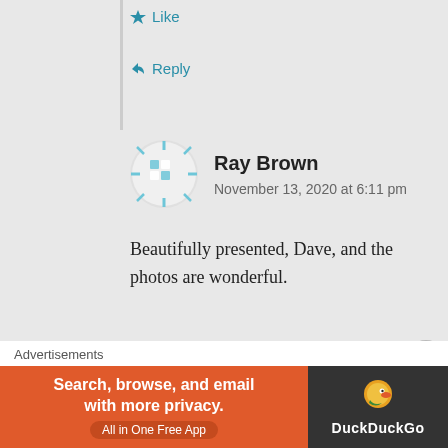Like
Reply
Ray Brown
November 13, 2020 at 6:11 pm
Beautifully presented, Dave, and the photos are wonderful.
Like
Reply
Advertisements
[Figure (screenshot): DuckDuckGo advertisement banner: orange background with text 'Search, browse, and email with more privacy. All in One Free App' on left, dark background with DuckDuckGo duck logo and text 'DuckDuckGo' on right.]